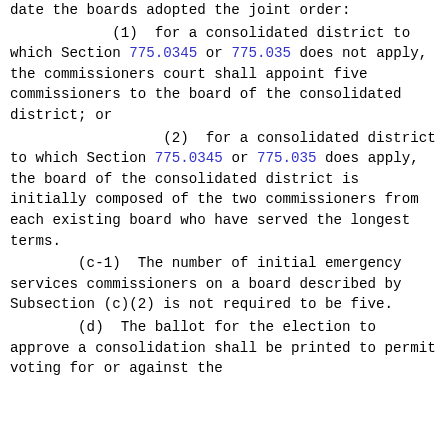date the boards adopted the joint order:
(1)  for a consolidated district to which Section 775.0345 or 775.035 does not apply, the commissioners court shall appoint five commissioners to the board of the consolidated district; or
(2)  for a consolidated district to which Section 775.0345 or 775.035 does apply, the board of the consolidated district is initially composed of the two commissioners from each existing board who have served the longest terms.
(c-1)  The number of initial emergency services commissioners on a board described by Subsection (c)(2) is not required to be five.
(d)  The ballot for the election to approve a consolidation shall be printed to permit voting for or against the consolidation. "The consolidation of the